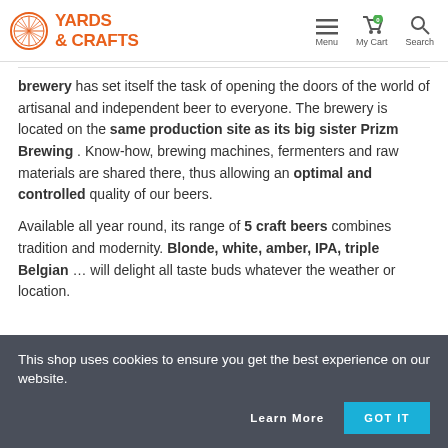YARDS & CRAFTS — Menu, My Cart, Search
brewery has set itself the task of opening the doors of the world of artisanal and independent beer to everyone. The brewery is located on the same production site as its big sister Prizm Brewing . Know-how, brewing machines, fermenters and raw materials are shared there, thus allowing an optimal and controlled quality of our beers.
Available all year round, its range of 5 craft beers combines tradition and modernity. Blonde, white, amber, IPA, triple Belgian … will delight all taste buds whatever the weather or location.
This shop uses cookies to ensure you get the best experience on our website.